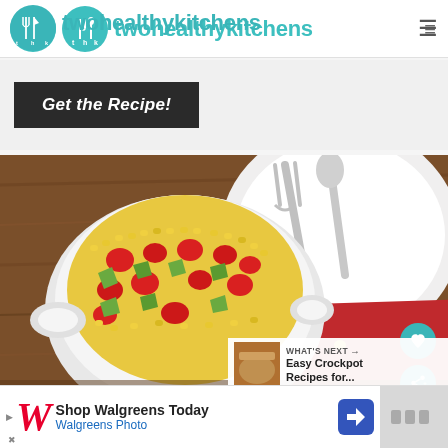twohealthykitchens
[Figure (screenshot): Get the Recipe! button on dark background]
[Figure (photo): Overhead photo of a white bowl filled with corn, tomatoes, and avocado salad on a wooden table with a white plate, fork, and red napkin]
WHAT'S NEXT → Easy Crockpot Recipes for...
[Figure (screenshot): Walgreens advertisement: Shop Walgreens Today - Walgreens Photo]